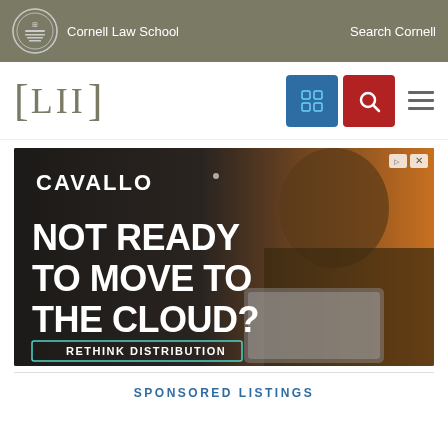Cornell Law School  Search Cornell
[Figure (logo): LII Legal Information Institute logo with Cornell Law School header navigation including blue grid icon and red search icon]
[Figure (photo): Cavallo advertisement: woman with glasses using tablet, text reads NOT READY TO MOVE TO THE CLOUD? RETHINK DISTRIBUTION]
SPONSORED LISTINGS